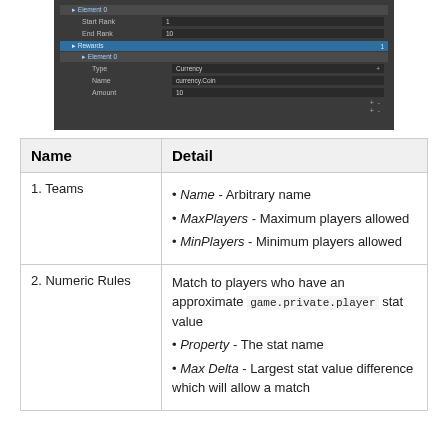[Figure (screenshot): Unity editor inspector screenshot showing Element 0 with Start Rank 1, End Rank 10, Rewards section with Element 0 Type Currency, Name currency.Coin, Amount 10, with +/- buttons]
| Name | Detail |
| --- | --- |
| 1. Teams | • Name - Arbitrary name
• MaxPlayers - Maximum players allowed
• MinPlayers - Minimum players allowed |
| 2. Numeric Rules | Match to players who have an approximate game.private.player stat value
• Property - The stat name
• Max Delta - Largest stat value difference which will allow a match |